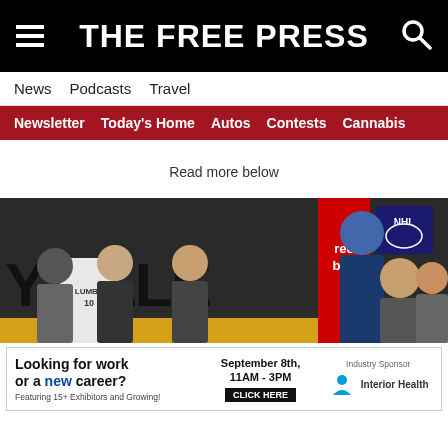THE FREE PRESS
News  Podcasts  Travel
Newsletter  Today's Home  Autos  Contests  Cannabis
Read more below
[Figure (photo): Group of people on a stage, one holding up a jersey reading LUMBY, with signage showing 'YVILLE', Reebok banner, and NHL logo visible in background.]
[Figure (infographic): Advertisement: Looking for work or a new career? Featuring 15+ Exhibitors and Growing! September 8th, 11AM - 3PM. CLICK HERE. Industry Sponsor: Interior Health.]